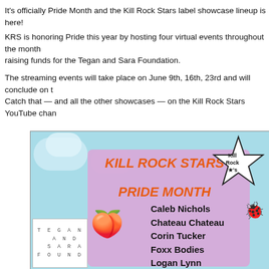It's officially Pride Month and the Kill Rock Stars label showcase lineup is here!
KRS is honoring Pride this year by hosting four virtual events throughout the month raising funds for the Tegan and Sara Foundation.
The streaming events will take place on June 9th, 16th, 23rd and will conclude on th… Catch that — and all the other showcases — on the Kill Rock Stars YouTube chann…
[Figure (illustration): Kill Rock Stars Pride Month showcase graphic with light blue background, clouds, pink/purple box listing artist names: Caleb Nichols, Chateau Chateau, Corin Tucker, Foxx Bodies, Logan Lynn. Features Kill Rock Stars star logo, peach emoji, ladybug, and Tegan and Sara Foundation word search.]